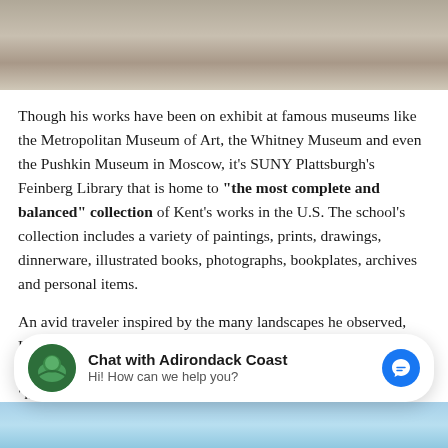[Figure (photo): Black and white photograph of a person at a desk with papers and art materials]
Though his works have been on exhibit at famous museums like the Metropolitan Museum of Art, the Whitney Museum and even the Pushkin Museum in Moscow, it's SUNY Plattsburgh's Feinberg Library that is home to "the most complete and balanced" collection of Kent's works in the U.S. The school's collection includes a variety of paintings, prints, drawings, dinnerware, illustrated books, photographs, bookplates, archives and personal items.
An avid traveler inspired by the many landscapes he observed, Kent spent time in Alaska, Tierra del Fuego, Ireland and Greenland, among other places, but called the Adirondacks "home" during the later portion of his life.
[Figure (screenshot): Chat widget: Chat with Adirondack Coast - Hi! How can we help you?]
[Figure (photo): Partial blue sky/landscape image at the bottom of the page]